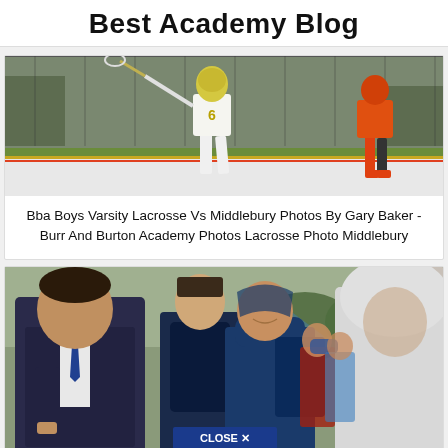Best Academy Blog
[Figure (photo): Lacrosse player wearing number 6 white uniform on a field with snow, holding a lacrosse stick, opponent in orange and black visible on the right]
Bba Boys Varsity Lacrosse Vs Middlebury Photos By Gary Baker - Burr And Burton Academy Photos Lacrosse Photo Middlebury
[Figure (photo): Adult man in suit greeting or talking to students with backpacks walking in a line, one student in blue hoodie smiling at camera, another student in white hoodie blurred in foreground. A CLOSE X button overlay is visible at the bottom.]